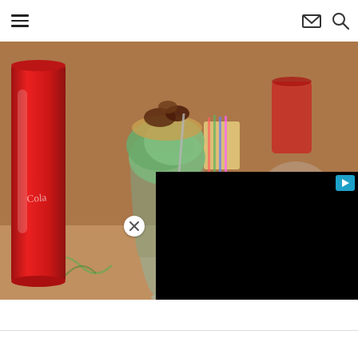Navigation bar with hamburger menu, email icon, and search icon
[Figure (photo): Photo of an ice cream sundae in a tall glass with green ice cream topped with nuts and chocolate, next to a red Coca-Cola tumbler on a brown table with napkins and cutlery. A black video overlay panel appears in the lower right with a cyan play badge. A circular close button with an X is overlaid near the center-left of the image.]